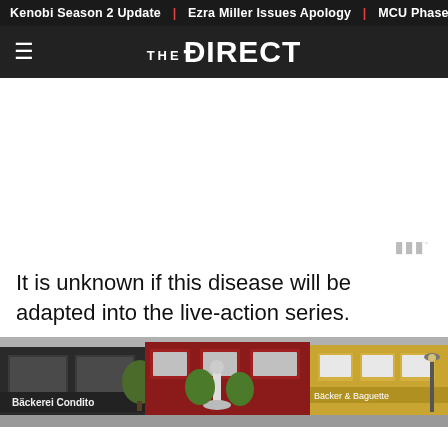Kenobi Season 2 Update | Ezra Miller Issues Apology | MCU Phase
THE DIRECT
It is unknown if this disease will be adapted into the live-action series.
[Figure (photo): A street scene showing colorful European-style storefronts including a bakery called Bäckerei Condito and other shopfronts in yellow, red, and mustard colors with a monument or fountain in the center.]